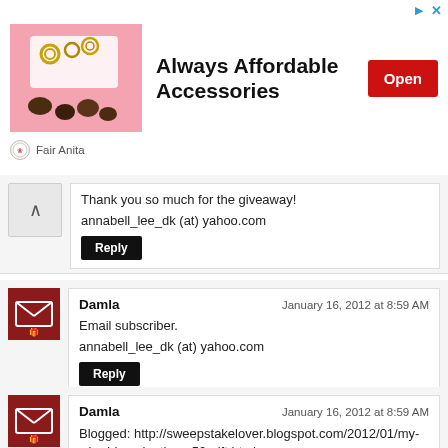[Figure (other): Advertisement banner for Fair Anita: 'Always Affordable Accessories' with an Open button]
Thank you so much for the giveaway!
annabell_lee_dk (at) yahoo.com
Reply
Damla
January 16, 2012 at 8:59 AM
Email subscriber.
annabell_lee_dk (at) yahoo.com
Reply
Damla
January 16, 2012 at 8:59 AM
Blogged: http://sweepstakelover.blogspot.com/2012/01/my-wired-imaginations-50-gift.html